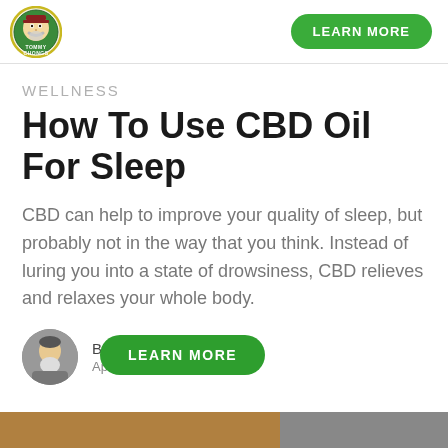[Figure (logo): Tommy Chong's CBD logo — circular logo with cartoon face and green/yellow border, text TOMMY CHONGS]
LEARN MORE
WELLNESS
How To Use CBD Oil For Sleep
CBD can help to improve your quality of sleep, but probably not in the way that you think. Instead of luring you into a state of drowsiness, CBD relieves and relaxes your whole body.
By Tommy Ch… April 14,
LEARN MORE